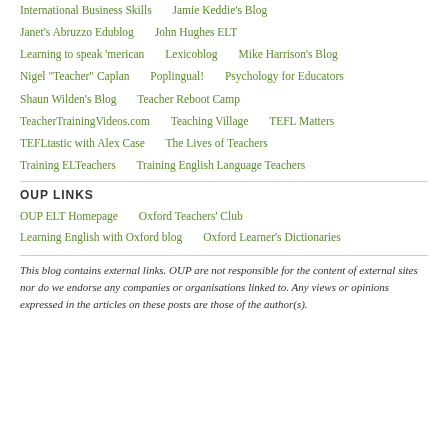International Business Skills
Jamie Keddie's Blog
Janet's Abruzzo Edublog
John Hughes ELT
Learning to speak 'merican
Lexicoblog
Mike Harrison's Blog
Nigel "Teacher" Caplan
Poplingual!
Psychology for Educators
Shaun Wilden's Blog
Teacher Reboot Camp
TeacherTrainingVideos.com
Teaching Village
TEFL Matters
TEFLtastic with Alex Case
The Lives of Teachers
Training ELTeachers
Training English Language Teachers
OUP LINKS
OUP ELT Homepage
Oxford Teachers' Club
Learning English with Oxford blog
Oxford Learner's Dictionaries
This blog contains external links. OUP are not responsible for the content of external sites nor do we endorse any companies or organisations linked to. Any views or opinions expressed in the articles on these posts are those of the author(s).